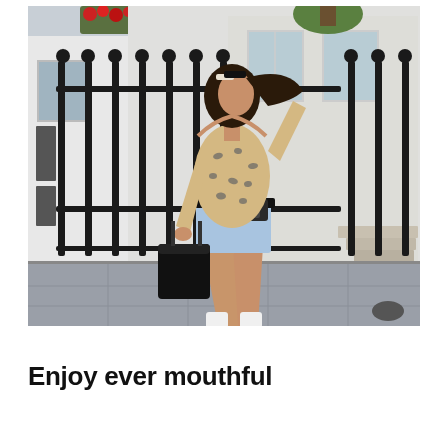[Figure (photo): A young woman with long dark hair walking along a London street beside black iron railings. She is wearing a leopard-print long-sleeve top, light denim cut-off shorts, white ankle socks, and carrying a black structured handbag. The background shows white Georgian terraced buildings, iron fencing, stone steps, and a grey paved sidewalk. Red flowers are visible in a window box at the top of the image.]
Enjoy ever mouthful